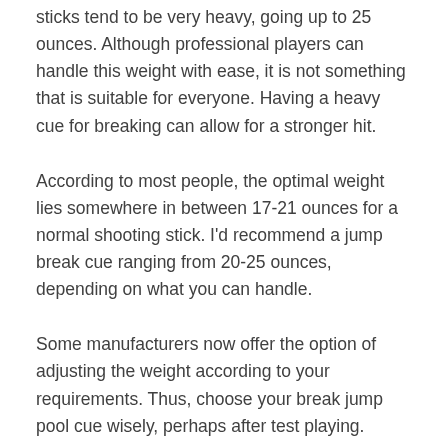sticks tend to be very heavy, going up to 25 ounces. Although professional players can handle this weight with ease, it is not something that is suitable for everyone. Having a heavy cue for breaking can allow for a stronger hit.
According to most people, the optimal weight lies somewhere in between 17-21 ounces for a normal shooting stick. I'd recommend a jump break cue ranging from 20-25 ounces, depending on what you can handle.
Some manufacturers now offer the option of adjusting the weight according to your requirements. Thus, choose your break jump pool cue wisely, perhaps after test playing.